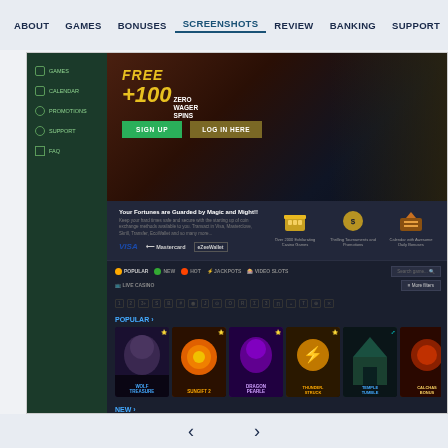ABOUT  GAMES  BONUSES  SCREENSHOTS  REVIEW  BANKING  SUPPORT
[Figure (screenshot): Casino website screenshot showing navigation sidebar with Games, Calendar, Promotions, Support, FAQ links; hero banner with FREE + 100 ZERO WAGER SPINS offer, SIGN UP and LOG IN HERE buttons; features section with payment logos (Visa, Mastercard, eZeeWallet), icons for Over 2000 Exhilarating Casino Games, Thrilling Tournaments and Promotions, Calendar with Awesome Daily Bonuses; game filter tabs (POPULAR, NEW, HOT, JACKPOTS, VIDEO SLOTS, LIVE CASINO); provider logos row; POPULAR section with game cards: Wolf Treasure, Sungift 2, Dragon Pearle, Temple Tumble, Calchas Bonus; NEW section with game cards: Stacked, Patrick's, Blue Reel, Lucky, Opera]